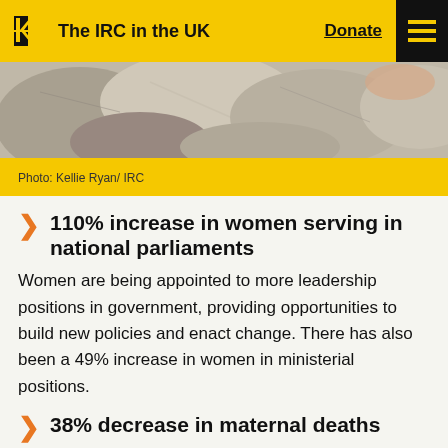The IRC in the UK | Donate
[Figure (photo): Close-up photo of rocks/stones in grayscale tones]
Photo: Kellie Ryan/ IRC
110% increase in women serving in national parliaments
Women are being appointed to more leadership positions in government, providing opportunities to build new policies and enact change. There has also been a 49% increase in women in ministerial positions.
38% decrease in maternal deaths